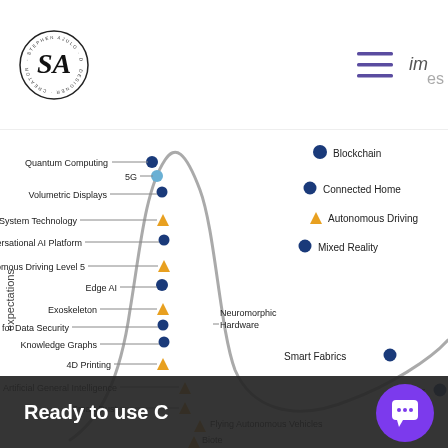[Figure (logo): Stephen Ajulu circular logo with S/A monogram, text around circle: STEPHEN AJULU WRITER CREATOR DESIGNER DEVELOPER]
[Figure (infographic): Gartner Hype Cycle chart showing technology expectations curve with labeled technologies: Quantum Computing, 5G, Volumetric Displays, Self-Healing System Technology, Conversational AI Platform, Autonomous Driving Level 5, Edge AI, Exoskeleton, Blockchain for Data Security, Knowledge Graphs, 4D Printing, Artificial General Intelligence, Smart Dust, Flying Autonomous Vehicles, Biote[ch], Blockchain, Connected Home, Autonomous Driving, Mixed Reality, Neuromorphic Hardware, Smart Fabrics, Augmented [Reality]. Y-axis label: expectations.]
Ready to use C